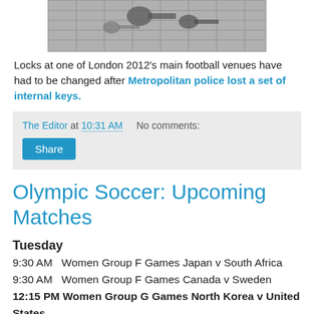[Figure (photo): Black and white photo of locks/keys, partially visible at top of page]
Locks at one of London 2012's main football venues have had to be changed after Metropolitan police lost a set of internal keys.
The Editor at 10:31 AM   No comments:
Share
Olympic Soccer: Upcoming Matches
Tuesday
9:30 AM  Women Group F Games Japan v South Africa
9:30 AM  Women Group F Games Canada v Sweden
12:15 PM Women Group G Games North Korea v United States
12:15 PM  Women Group G Games Colombia v France
3:45 PM  Women Group F Games Cameroon v New...